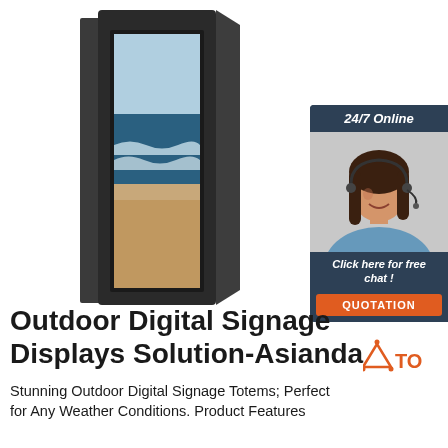[Figure (photo): Outdoor digital signage totem/kiosk with black enclosure showing a beach/ocean image on a vertical display screen]
[Figure (infographic): 24/7 Online chat widget with dark blue background, photo of female customer service representative wearing headset, text 'Click here for free chat!' and orange QUOTATION button]
Outdoor Digital Signage Displays Solution-AsiandaTOP
Stunning Outdoor Digital Signage Totems; Perfect for Any Weather Conditions. Product Features